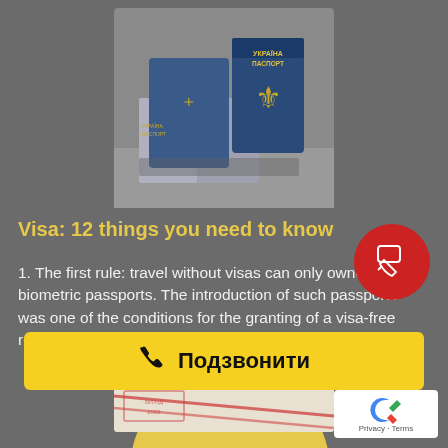[Figure (photo): Ukrainian biometric passports stacked together, blue covers with golden trident emblem, text УКРАЇНА ПАСПОРТ visible]
Visa: 12 things you need to know
1. The first rule: travel without visas can only owners of biometric passports. The introduction of such passports was one of the conditions for the granting of a visa-free regime, and for good reason: only
[Figure (photo): Close-up of passport stamp pages with various entry/exit stamps in red and blue ink, dates visible including 2008 and 2009]
Подзвонити